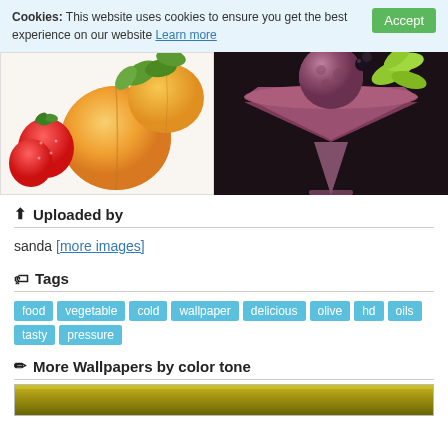Cookies: This website uses cookies to ensure you get the best experience on our website Learn more   Accept
[Figure (photo): Two food photos side by side: left shows peaches/apricots and strawberries on white background; right shows a purple/berry ice cream scoop in a cocktail glass with mint leaves and dark berries on black background]
Uploaded by
sanda [more images]
Tags
food  vegetable  cold  wallpaper  delicious  olive  hd  oils  tasty  pressure
More Wallpapers by color tone
[Figure (photo): Bottom partial image showing a golden/olive colored wallpaper thumbnail]